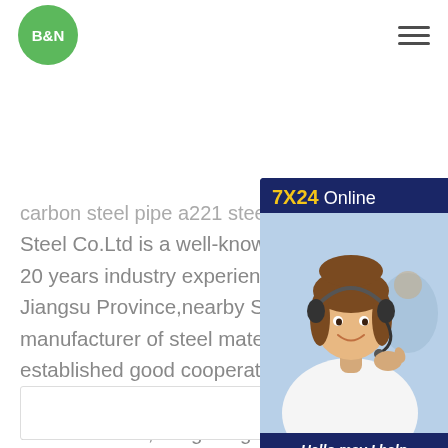[Figure (logo): B&N logo — green circle with white bold B&N text]
[Figure (other): Hamburger menu icon (three horizontal lines)]
carbon steel pipe a221 steels china B... Steel Co.Ltd is a well-known metal ste... 20 years industry experience,which is b... Jiangsu Province,nearby Shanghai por... manufacturer of steel materials,the ent... established good cooperative relations... famous steel plant like TISCO,Bao Ste... Iron and Steel,Hongwang Stainless,Ch... Capital and
[Figure (photo): Chat support widget with 7X24 Online header, photo of smiling woman with headset, Hello,may I help you? message, and Get Latest Price button]